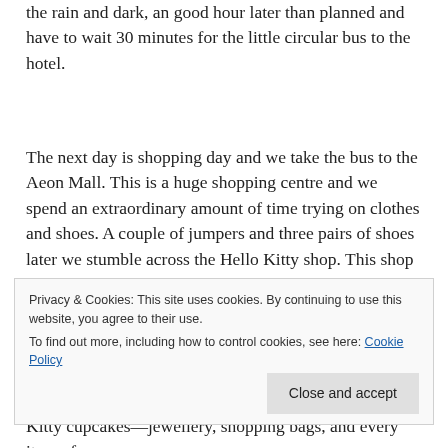the rain and dark, an good hour later than planned and have to wait 30 minutes for the little circular bus to the hotel.
The next day is shopping day and we take the bus to the Aeon Mall. This is a huge shopping centre and we spend an extraordinary amount of time trying on clothes and shoes. A couple of jumpers and three pairs of shoes later we stumble across the Hello Kitty shop. This shop is as big as small department store in itself, and any Hello Kitty item you could
Privacy & Cookies: This site uses cookies. By continuing to use this website, you agree to their use.
To find out more, including how to control cookies, see here: Cookie Policy
Kitty cupcakes—jewellery, shopping bags, and every item of